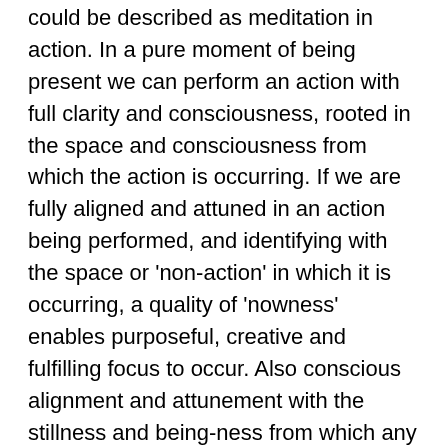principle. However, it also applies to an experience that could be described as meditation in action. In a pure moment of being present we can perform an action with full clarity and consciousness, rooted in the space and consciousness from which the action is occurring. If we are fully aligned and attuned in an action being performed, and identifying with the space or 'non-action' in which it is occurring, a quality of 'nowness' enables purposeful, creative and fulfilling focus to occur. Also conscious alignment and attunement with the stillness and being-ness from which any given action has arisen, is an inner action in and of itself – the action of aligning and attuning the consciousness itself.
This awareness in action while knowing the reason and benefits of what we are doing at any time in the day, nourishes the consciousness of feeling in the flow of life and energisation by doing something that is in some way of purpose. This is an opportunity...